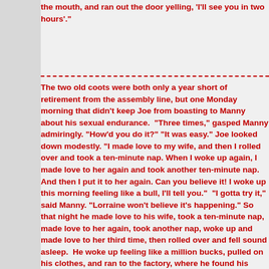the mouth, and ran out the door yelling, 'I'll see you in two hours'."
The two old coots were both only a year short of retirement from the assembly line, but one Monday morning that didn't keep Joe from boasting to Manny about his sexual endurance.  "Three times," gasped Manny admiringly. "How'd you do it?"  "It was easy." Joe looked down modestly. "I made love to my wife, and then I rolled over and took a ten-minute nap. When I woke up again, I made love to her again and took another ten-minute nap. And then I put it to her again. Can you believe it! I woke up this morning feeling like a bull, I'll tell you."  "I gotta try it," said Manny. "Lorraine won't believe it's happening." So that night he made love to his wife, took a ten-minute nap, made love to her again, took another nap, woke up and made love to her third time, then rolled over and fell sound asleep.  He woke up feeling like a million bucks, pulled on his clothes, and ran to the factory, where he found his boss waiting outside for him. "What's up, Boss?" he asked. "I've been working for you for twenty years and never been late once. You aren't going to hold these twenty minutes against me now, are you?"  "What twenty